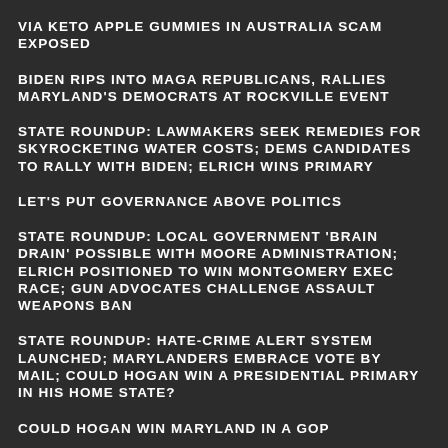VIA KETO APPLE GUMMIES IN AUSTRALIA SCAM EXPOSED
BIDEN RIPS INTO MAGA REPUBLICANS, RALLIES MARYLAND'S DEMOCRATS AT ROCKVILLE EVENT
STATE ROUNDUP: LAWMAKERS SEEK REMEDIES FOR SKYROCKETING WATER COSTS; DEMS CANDIDATES TO RALLY WITH BIDEN; ELRICH WINS PRIMARY
LET'S PUT GOVERNANCE ABOVE POLITICS
STATE ROUNDUP: LOCAL GOVERNMENT 'BRAIN DRAIN' POSSIBLE WITH MOORE ADMINISTRATION; ELRICH POSITIONED TO WIN MONTGOMERY EXEC RACE; GUN ADVOCATES CHALLENGE ASSAULT WEAPONS BAN
STATE ROUNDUP: HATE-CRIME ALERT SYSTEM LAUNCHED; MARYLANDERS EMBRACE VOTE BY MAIL; COULD HOGAN WIN A PRESIDENTIAL PRIMARY IN HIS HOME STATE?
COULD HOGAN WIN MARYLAND IN A GOP